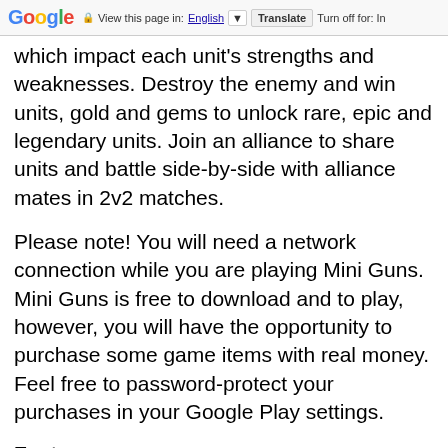Google  View this page in: English  Translate  Turn off for: In
which impact each unit's strengths and weaknesses. Destroy the enemy and win units, gold and gems to unlock rare, epic and legendary units. Join an alliance to share units and battle side-by-side with alliance mates in 2v2 matches.
Please note! You will need a network connection while you are playing Mini Guns. Mini Guns is free to download and to play, however, you will have the opportunity to purchase some game items with real money. Feel free to password-protect your purchases in your Google Play settings.
Features
• Battle players from all over the globe in real-time to rank up
• Enemy it...